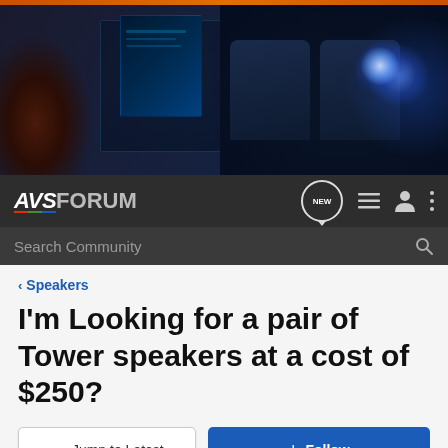[Figure (photo): AVS Forum website banner showing home theater equipment: speaker, AV receiver, luxury theater seats, and projector on dark blue background]
AVS FORUM navigation bar with logo, NEW button, menu icons, and search bar
< Speakers
I'm Looking for a pair of Tower speakers at a cost of $250?
→ Jump to Latest   ⊕ Follow